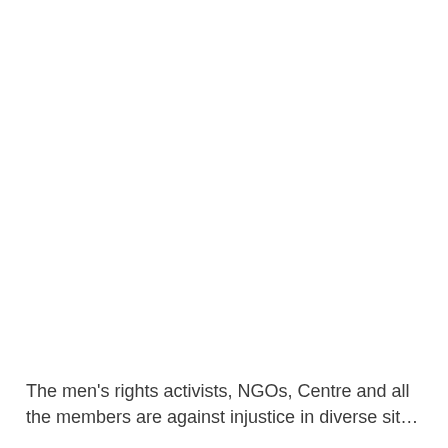The men's rights activists, NGOs, Centre and all the members are against injustice in diverse situations,